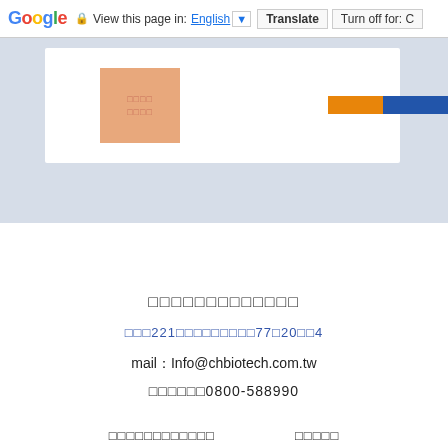Google  View this page in: English ▼  Translate  Turn off for: C
[Figure (screenshot): Website header area with orange placeholder image on white card over blue-grey background, with orange and blue bars top right]
□□□□□□□□□□□□□
□□□221□□□□□□□□□□77□20□□4
mail：Info@chbiotech.com.tw
□□□□□□0800-588990
□□□□□□□□□□□□  □□□□□